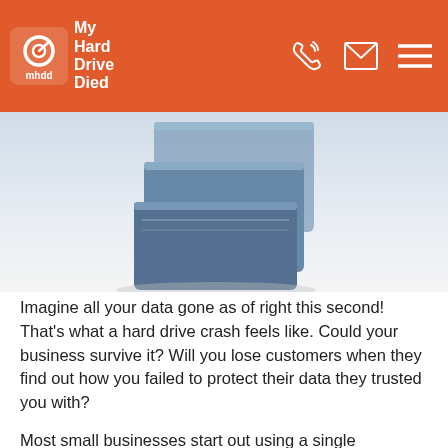My Hard Drive Died
[Figure (photo): Stacked external hard drives, blue and silver colored, photographed at an angle against a white background.]
Imagine all your data gone as of right this second! That's what a hard drive crash feels like. Could your business survive it? Will you lose customers when they find out how you failed to protect their data they trusted you with?
Most small businesses start out using a single computer or a laptop as their main computer. Many are not doing a backup of any kind. They start backing up after their first major catastrophe.
Notebooks especially have a very sensitive hard drives